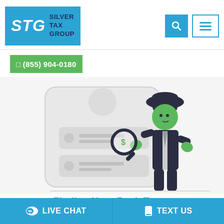[Figure (logo): Silver Tax Group logo with STG in white on blue background and company name in dark blue]
(855) 904-0180
[Figure (illustration): Illustrated character in dark suit and hat holding a magnifying glass over a phone/document screen, with green hands and face]
Finding Your Back Taxes
LIVE CHAT
TEXT US